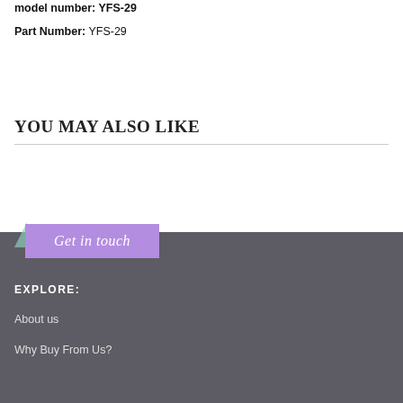model number: YFS-29
Part Number: YFS-29
YOU MAY ALSO LIKE
Get in touch
EXPLORE:
About us
Why Buy From Us?